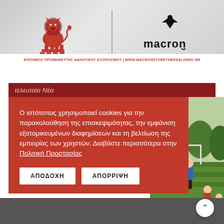[Figure (logo): Banner with red lion logo on left and Macron logo on right, with text ΕΠΙΣΗΜΟΣ ΠΡΟΜΗΘΕΥΤΗΣ ΑΘΛΗΤΙΚΟΥ ΕΞΟΠΛΙΣΜΟΥ | www.macronstorethessaloniki.gr]
τελευταία Νέα
Ο ιστότοπος χρησιμοποιεί cookies για την παρακολούθηση της επισκεψιμότητας, την εμφάνιση εξατομικευμένων διαφημίσεων και τη βελτίωση της εμπειρίας των χρηστών. Διαβάστε περισσότερα στην Πολιτική Προστασίας
[Figure (photo): Soccer/football training photo with a coach in blue shirt and players on a green field with trees in background]
ΑΠΟΔΟΧΗ
ΑΠΟΡΡΙΨΗ